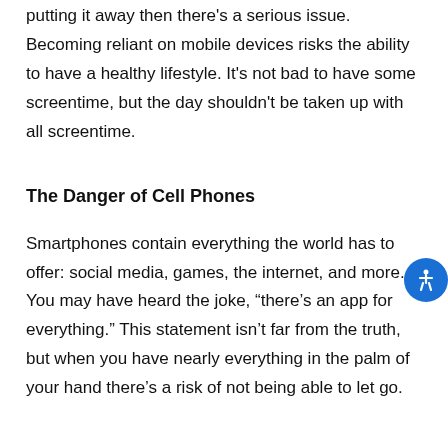putting it away then there's a serious issue. Becoming reliant on mobile devices risks the ability to have a healthy lifestyle. It's not bad to have some screentime, but the day shouldn't be taken up with all screentime.
The Danger of Cell Phones
Smartphones contain everything the world has to offer: social media, games, the internet, and more. You may have heard the joke, “there’s an app for everything.” This statement isn’t far from the truth, but when you have nearly everything in the palm of your hand there’s a risk of not being able to let go.